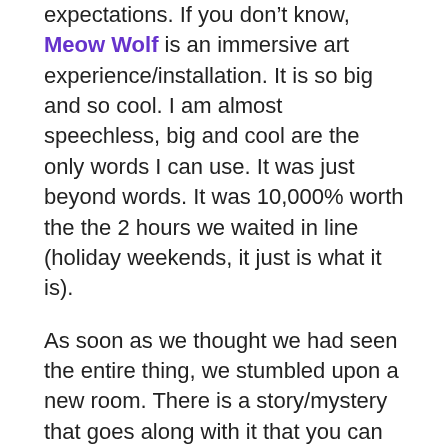expectations. If you don't know, Meow Wolf is an immersive art experience/installation. It is so big and so cool. I am almost speechless, big and cool are the only words I can use. It was just beyond words. It was 10,000% worth the the 2 hours we waited in line (holiday weekends, it just is what it is).
As soon as we thought we had seen the entire thing, we stumbled upon a new room. There is a story/mystery that goes along with it that you can find clues to solve — we were there for almost 4 hours and barely made a dent. I had read online prior to our visit that some spend 2-3 days in Sante Fe, going each day to Meow Wolf and I thought this was a bit much, but now I can see why. I wish we had more time to explore and we will absolutely go back a second, maybe even a third time. I chose not to post too many photos of the exhibit so you can go support